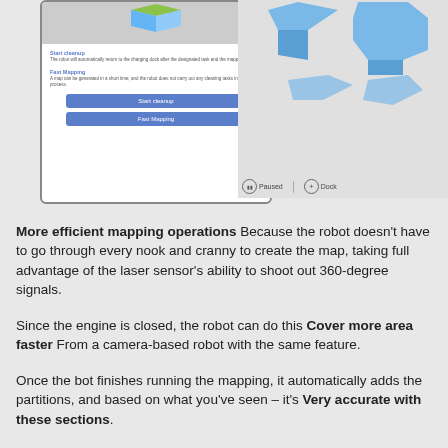[Figure (screenshot): App screenshot showing phone UI with Start cleanup and Fast Mapping buttons, and a map panel with blue floor plan shapes and Paused/Dock controls]
More efficient mapping operations Because the robot doesn't have to go through every nook and cranny to create the map, taking full advantage of the laser sensor's ability to shoot out 360-degree signals.
Since the engine is closed, the robot can do this Cover more area faster From a camera-based robot with the same feature.
Once the bot finishes running the mapping, it automatically adds the partitions, and based on what you've seen – it's Very accurate with these sections.